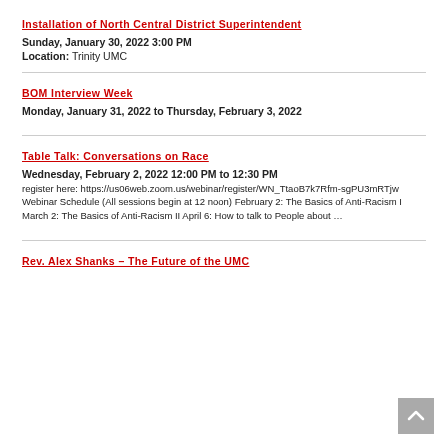Installation of North Central District Superintendent
Sunday, January 30, 2022 3:00 PM
Location: Trinity UMC
BOM Interview Week
Monday, January 31, 2022 to Thursday, February 3, 2022
Table Talk: Conversations on Race
Wednesday, February 2, 2022 12:00 PM to 12:30 PM
register here: https://us06web.zoom.us/webinar/register/WN_TtaoB7k7Rfm-sgPU3mRTjw Webinar Schedule (All sessions begin at 12 noon) February 2: The Basics of Anti-Racism I March 2: The Basics of Anti-Racism II April 6: How to talk to People about …
Rev. Alex Shanks – The Future of the UMC